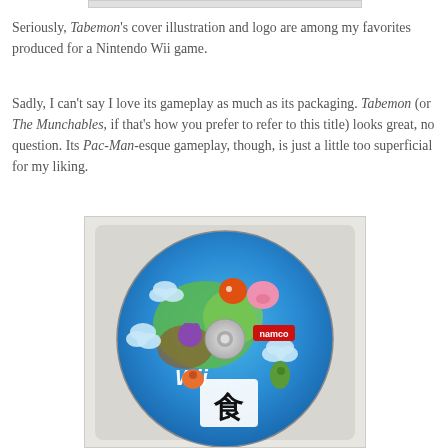[Figure (photo): Top portion of a previous image, cropped — white/light background with a gray border bar visible at top]
Seriously, Tabemon's cover illustration and logo are among my favorites produced for a Nintendo Wii game.
Sadly, I can't say I love its gameplay as much as its packaging. Tabemon (or The Munchables, if that's how you prefer to refer to this title) looks great, no question. Its Pac-Man-esque gameplay, though, is just a little too superficial for my liking.
[Figure (photo): Photo of a Wii game disc for Tabemon (The Munchables) by Namco, featuring colorful cartoon characters on a blue disc label inside a white case tray]